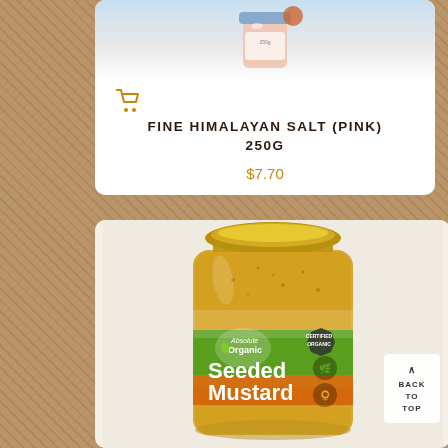[Figure (photo): Pink Himalayan salt product jar with blue label and orange cart icon below]
FINE HIMALAYAN SALT (PINK) 250G
$7.70
[Figure (photo): Absolute Organic Seeded Mustard jar with gold lid, green and orange label, certified organic badge]
BACK TO TOP